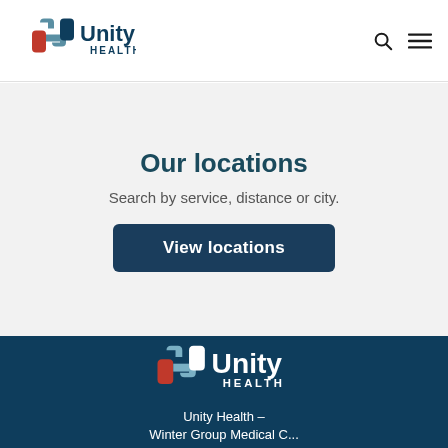[Figure (logo): Unity Health logo with cross/chain icon and 'Unity HEALTH' text in dark teal, search icon and hamburger menu icon on the right]
Our locations
Search by service, distance or city.
View locations
[Figure (logo): Unity Health white logo in dark teal footer background]
Unity Health - Winter Group Medical C...